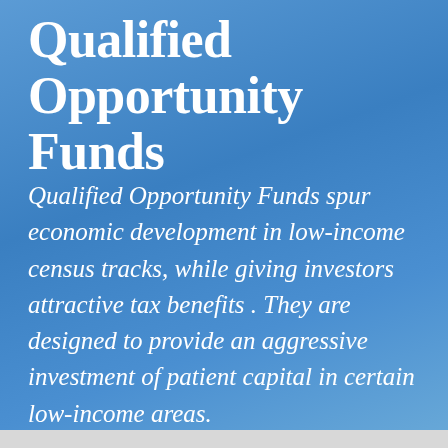Qualified Opportunity Funds
Qualified Opportunity Funds spur economic development in low-income census tracks, while giving investors attractive tax benefits . They are designed to provide an aggressive investment of patient capital in certain low-income areas.